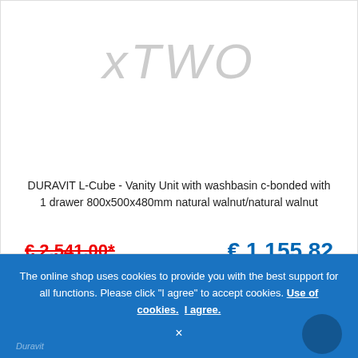[Figure (logo): xTWO brand logo in light gray italic text]
DURAVIT L-Cube - Vanity Unit with washbasin c-bonded with 1 drawer 800x500x480mm natural walnut/natural walnut
€ 2,541.00* (crossed out, old price in red)  € 1,155.82 (new price in blue)
Delivery time: ■■■ حوالي 6-4 أسابيع
Article no.: LC6917N7979
ADD TO CART
The online shop uses cookies to provide you with the best support for all functions. Please click "I agree" to accept cookies. Use of cookies. I agree.